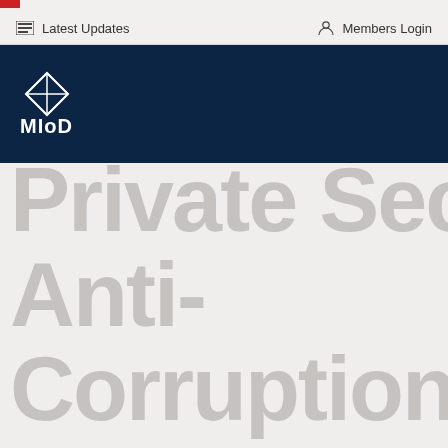Latest Updates | Members Login
[Figure (logo): MIoD logo with diamond/kite geometric shape in white on dark navy background, text 'MIoD' below the icon]
Private Sector Anti-Corruption Task Force